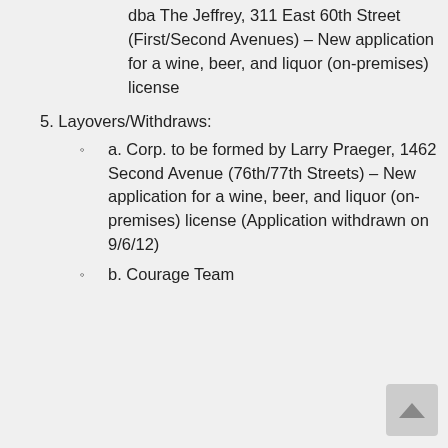dba The Jeffrey, 311 East 60th Street (First/Second Avenues) – New application for a wine, beer, and liquor (on-premises) license
5. Layovers/Withdraws:
a. Corp. to be formed by Larry Praeger, 1462 Second Avenue (76th/77th Streets) – New application for a wine, beer, and liquor (on-premises) license (Application withdrawn on 9/6/12)
b. Courage Team